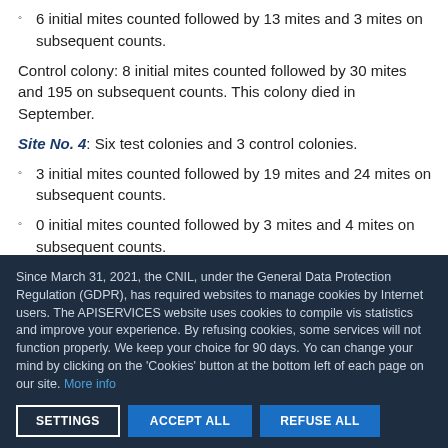6 initial mites counted followed by 13 mites and 3 mites on subsequent counts.
Control colony: 8 initial mites counted followed by 30 mites and 195 on subsequent counts. This colony died in September.
Site No. 4: Six test colonies and 3 control colonies.
3 initial mites counted followed by 19 mites and 24 mites on subsequent counts.
0 initial mites counted followed by 3 mites and 4 mites on subsequent counts.
2 initial mites counted followed by 26 mites and 23 mites on
Since March 31, 2021, the CNIL, under the General Data Protection Regulation (GDPR), has required websites to manage cookies by Internet users. The APISERVICES website uses cookies to compile visit statistics and improve your experience. By refusing cookies, some services will not function properly. We keep your choice for 90 days. You can change your mind by clicking on the 'Cookies' button at the bottom left of each page on our site. More info